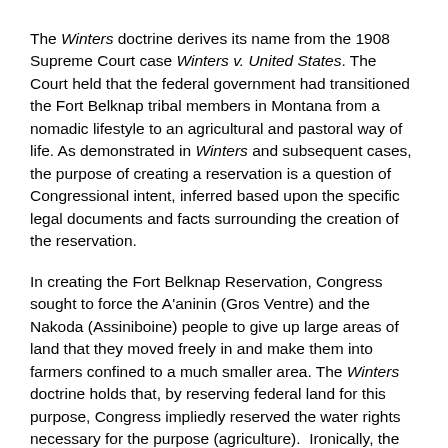The Winters doctrine derives its name from the 1908 Supreme Court case Winters v. United States. The Court held that the federal government had transitioned the Fort Belknap tribal members in Montana from a nomadic lifestyle to an agricultural and pastoral way of life. As demonstrated in Winters and subsequent cases, the purpose of creating a reservation is a question of Congressional intent, inferred based upon the specific legal documents and facts surrounding the creation of the reservation.
In creating the Fort Belknap Reservation, Congress sought to force the A'aninin (Gros Ventre) and the Nakoda (Assiniboine) people to give up large areas of land that they moved freely in and make them into farmers confined to a much smaller area. The Winters doctrine holds that, by reserving federal land for this purpose, Congress impliedly reserved the water rights necessary for the purpose (agriculture). Ironically, the case that enshrined federal reserved water rights for Indian people came about in the same federal policy era